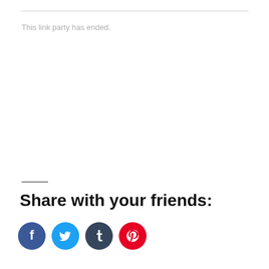This link party has ended.
Share with your friends:
[Figure (other): Four social media share buttons: Facebook (blue), Twitter (light blue), Tumblr (dark navy), Pinterest (red)]